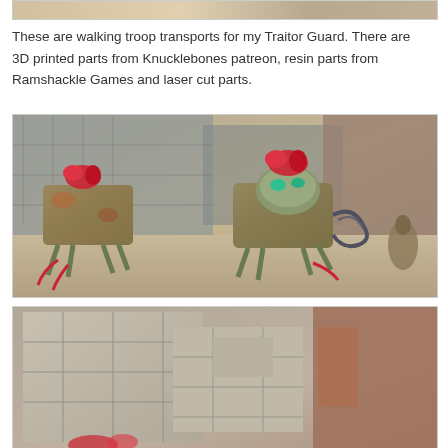[Figure (photo): Top partial photo of painted miniatures or models, cropped at top of page]
These are walking troop transports for my Traitor Guard. There are 3D printed parts from Knucklebones patreon, resin parts from Ramshackle Games and laser cut parts.
[Figure (photo): Photo of two walking troop transport miniatures painted in green/rust tones with red plumes and red details, set against a grey urban terrain backdrop]
[Figure (photo): Photo of grey painted terrain pieces/buildings, partially visible at bottom of page]